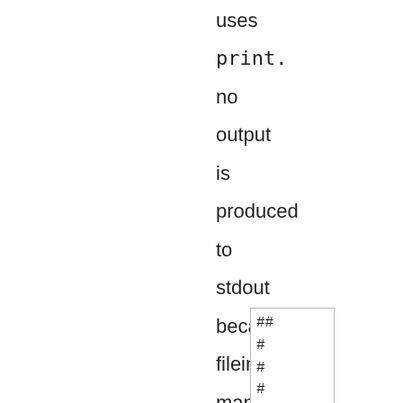uses print. no output is produced to stdout because fileinput maps stdout to the file being overwritten.
## # # # # # ## 12 25